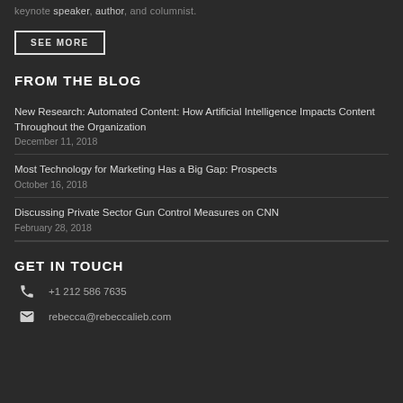keynote speaker, author, and columnist.
SEE MORE
FROM THE BLOG
New Research: Automated Content: How Artificial Intelligence Impacts Content Throughout the Organization
December 11, 2018
Most Technology for Marketing Has a Big Gap: Prospects
October 16, 2018
Discussing Private Sector Gun Control Measures on CNN
February 28, 2018
GET IN TOUCH
+1 212 586 7635
rebecca@rebeccalieb.com